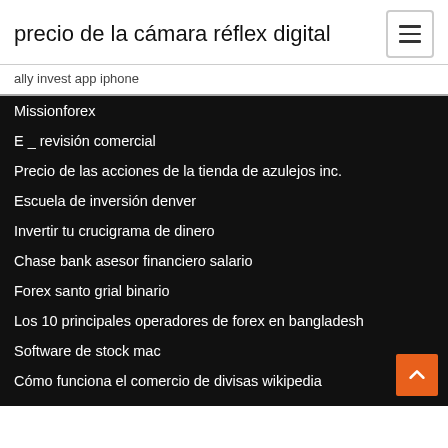precio de la cámara réflex digital
ally invest app iphone
Missionforex
E _ revisión comercial
Precio de las acciones de la tienda de azulejos inc.
Escuela de inversión denver
Invertir tu crucigrama de dinero
Chase bank asesor financiero salario
Forex santo grial binario
Los 10 principales operadores de forex en bangladesh
Software de stock mac
Cómo funciona el comercio de divisas wikipedia